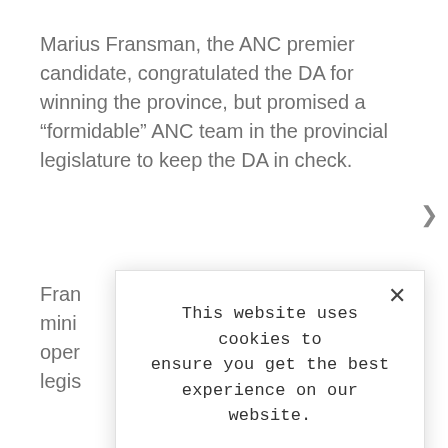Marius Fransman, the ANC premier candidate, congratulated the DA for winning the province, but promised a “formidable” ANC team in the provincial legislature to keep the DA in check.
Fran mini oper legis
[Figure (screenshot): Cookie consent modal dialog with close button (X), text reading 'This website uses cookies to ensure you get the best experience on our website.', a bold 'LEARN MORE.' link, and an 'ACCEPT COOKIES' button with light blue background.]